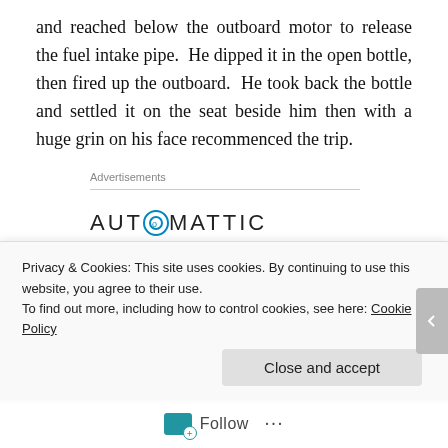and reached below the outboard motor to release the fuel intake pipe.  He dipped it in the open bottle, then fired up the outboard.  He took back the bottle and settled it on the seat beside him then with a huge grin on his face recommenced the trip.
Advertisements
[Figure (logo): Automattic logo with circular 'o' icon in blue]
Build a better web and a better world.
Privacy & Cookies: This site uses cookies. By continuing to use this website, you agree to their use.
To find out more, including how to control cookies, see here: Cookie Policy
Close and accept
Follow